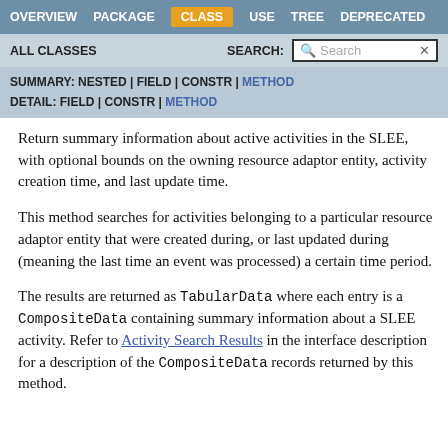OVERVIEW  PACKAGE  CLASS  USE  TREE  DEPRECATED
ALL CLASSES   SEARCH:  [Search]
SUMMARY: NESTED | FIELD | CONSTR | METHOD
DETAIL: FIELD | CONSTR | METHOD
Return summary information about active activities in the SLEE, with optional bounds on the owning resource adaptor entity, activity creation time, and last update time.
This method searches for activities belonging to a particular resource adaptor entity that were created during, or last updated during (meaning the last time an event was processed) a certain time period.
The results are returned as TabularData where each entry is a CompositeData containing summary information about a SLEE activity. Refer to Activity Search Results in the interface description for a description of the CompositeData records returned by this method.